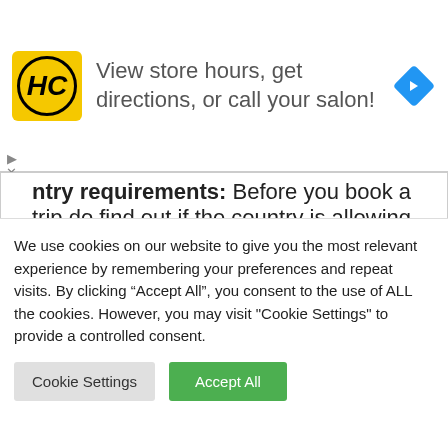[Figure (screenshot): Advertisement banner for HC (Hair Cuttery or similar salon) with yellow logo containing 'HC' in italic bold inside a circle, text 'View store hours, get directions, or call your salon!', and a blue diamond-shaped navigation arrow icon on the right.]
entry requirements: Before you book a trip do find out if the country is allowing UK residents to enter, several green rated countries, such as New Zealand don't. Other countries, such as Malta, require you to show an NHS Covid Pass as proof of being fully
We use cookies on our website to give you the most relevant experience by remembering your preferences and repeat visits. By clicking "Accept All", you consent to the use of ALL the cookies. However, you may visit "Cookie Settings" to provide a controlled consent.